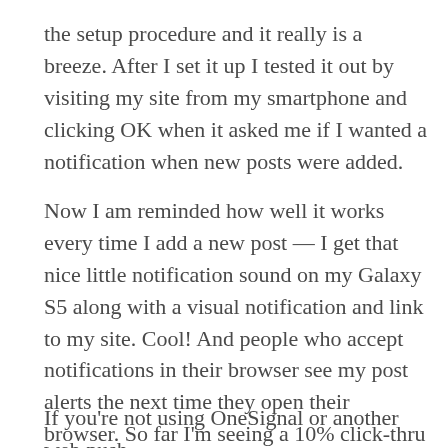the setup procedure and it really is a breeze. After I set it up I tested it out by visiting my site from my smartphone and clicking OK when it asked me if I wanted a notification when new posts were added.
Now I am reminded how well it works every time I add a new post — I get that nice little notification sound on my Galaxy S5 along with a visual notification and link to my site. Cool! And people who accept notifications in their browser see my post alerts the next time they open their browser. So far I'm seeing a 10% click-thru rate which is higher than email marketing these days, so its definitely worth it.
If you're not using OneSignal or another web push